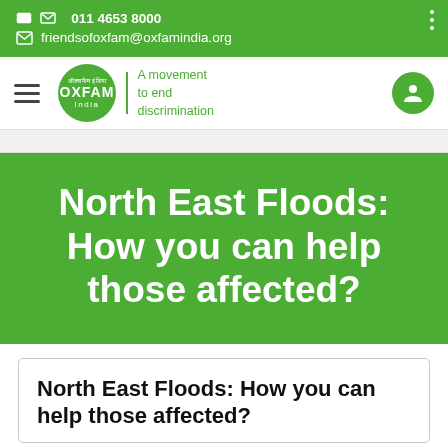011 4653 8000
friendsofoxfam@oxfamindia.org
[Figure (logo): Oxfam India logo with hamburger menu and user icon in navigation bar]
North East Floods: How you can help those affected?
North East Floods: How you can help those affected?